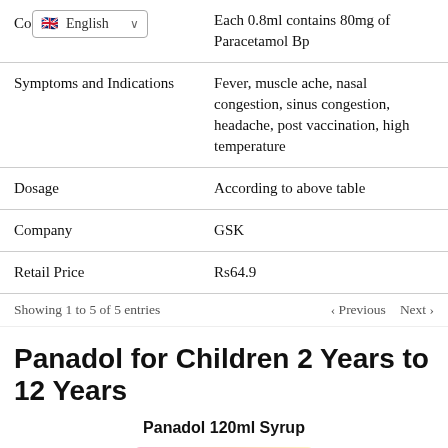| Category | Detail |
| --- | --- |
| Co… | Each 0.8ml contains 80mg of Paracetamol Bp |
| Symptoms and Indications | Fever, muscle ache, nasal congestion, sinus congestion, headache, post vaccination, high temperature |
| Dosage | According to above table |
| Company | GSK |
| Retail Price | Rs64.9 |
Showing 1 to 5 of 5 entries
Panadol for Children 2 Years to 12 Years
Panadol 120ml Syrup
[Figure (photo): Partial image of Panadol product packaging (pink/orange box)]